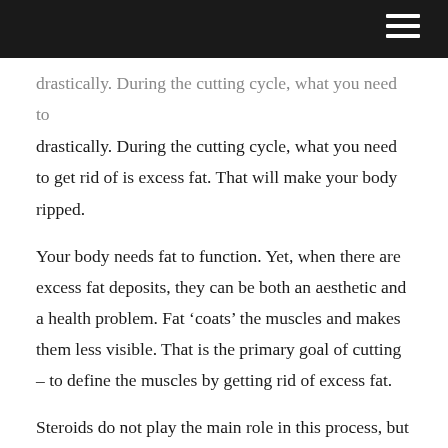drastically. During the cutting cycle, what you need to get rid of is excess fat. That will make your body ripped.
Your body needs fat to function. Yet, when there are excess fat deposits, they can be both an aesthetic and a health problem. Fat ‘coats’ the muscles and makes them less visible. That is the primary goal of cutting – to define the muscles by getting rid of excess fat.
Steroids do not play the main role in this process, but caloric deficits and increased exercise intensity. They are there to speed up converting body fat into energy.